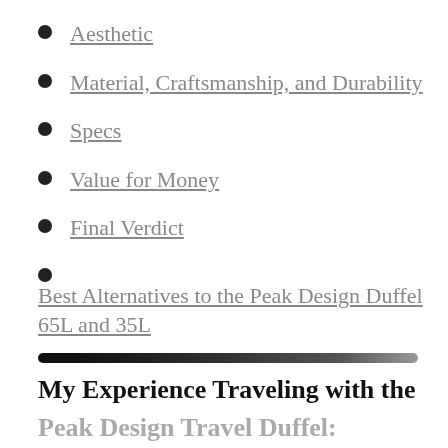Aesthetic
Material, Craftsmanship, and Durability
Specs
Value for Money
Final Verdict
Best Alternatives to the Peak Design Duffel 65L and 35L
My Experience Traveling with the Peak Design Travel Duffel: Perfect for Digital Nomads and Long Term